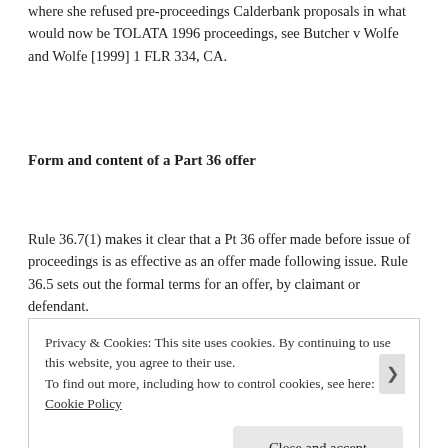where she refused pre-proceedings Calderbank proposals in what would now be TOLATA 1996 proceedings, see Butcher v Wolfe and Wolfe [1999] 1 FLR 334, CA.
Form and content of a Part 36 offer
Rule 36.7(1) makes it clear that a Pt 36 offer made before issue of proceedings is as effective as an offer made following issue. Rule 36.5 sets out the formal terms for an offer, by claimant or defendant.
Privacy & Cookies: This site uses cookies. By continuing to use this website, you agree to their use.
To find out more, including how to control cookies, see here: Cookie Policy